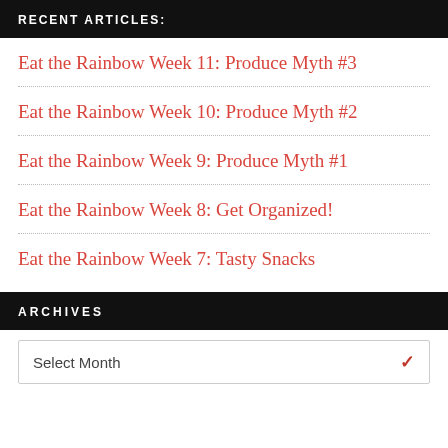RECENT ARTICLES:
Eat the Rainbow Week 11: Produce Myth #3
Eat the Rainbow Week 10: Produce Myth #2
Eat the Rainbow Week 9: Produce Myth #1
Eat the Rainbow Week 8: Get Organized!
Eat the Rainbow Week 7: Tasty Snacks
ARCHIVES
Select Month